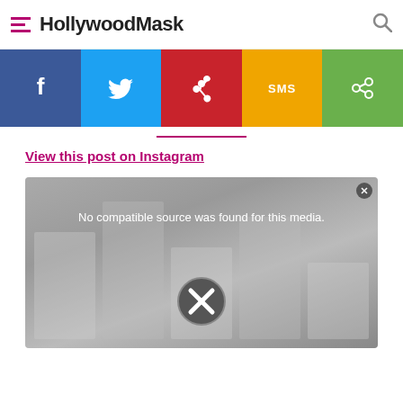HollywoodMask
[Figure (infographic): Social sharing bar with Facebook (blue), Twitter (light blue), Pinterest (red), SMS (yellow/orange), and Share (green) buttons with white icons]
View this post on Instagram
[Figure (screenshot): Instagram post embed skeleton with video overlay showing 'No compatible source was found for this media.' with an X icon and close button]